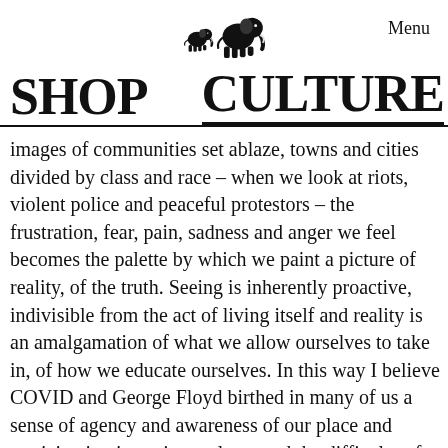[Figure (logo): Two elephant silhouettes (small and large), serving as a logo icon centered at the top of the page.]
Menu
SHOP    CULTURE
images of communities set ablaze, towns and cities divided by class and race – when we look at riots, violent police and peaceful protestors – the frustration, fear, pain, sadness and anger we feel becomes the palette by which we paint a picture of reality, of the truth. Seeing is inherently proactive, indivisible from the act of living itself and reality is an amalgamation of what we allow ourselves to take in, of how we educate ourselves. In this way I believe COVID and George Floyd birthed in many of us a sense of agency and awareness of our place and participation in society at large and the difficulty of but necessity of change in manifesting a fuller, brighter and more cohesive portrait of this world we all share.